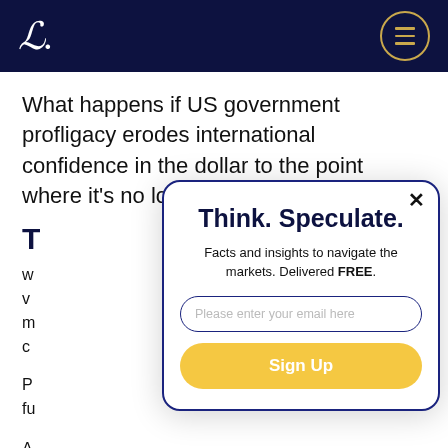L.
What happens if US government profligacy erodes international confidence in the dollar to the point where it's no longer the preferred re...
T...
w... v... m... c...
P... fu...
A...
[Figure (screenshot): Newsletter signup modal with title 'Think. Speculate.', subtitle 'Facts and insights to navigate the markets. Delivered FREE.', email input field, and yellow Sign Up button. Has a close (×) button in top right corner and a dark blue border with rounded corners.]